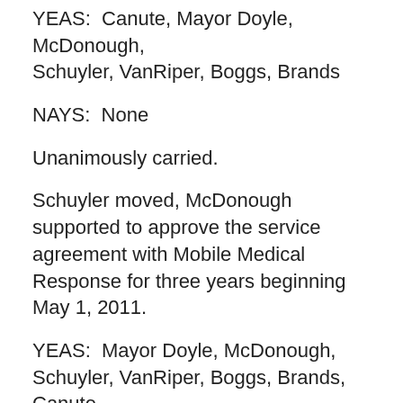YEAS:  Canute, Mayor Doyle, McDonough, Schuyler, VanRiper, Boggs, Brands
NAYS:  None
Unanimously carried.
Schuyler moved, McDonough supported to approve the service agreement with Mobile Medical Response for three years beginning May 1, 2011.
YEAS:  Mayor Doyle, McDonough, Schuyler, VanRiper, Boggs, Brands, Canute
NAYS:  None